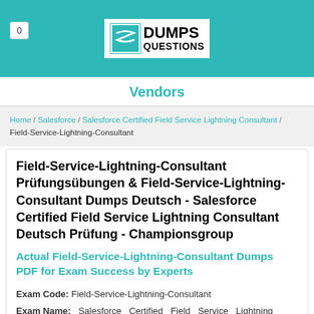0 | DUMPS QUESTIONS
Vendors
Home / Salesforce / Salesforce Certified Field Service Lightning Consultant / Field-Service-Lightning-Consultant
Field-Service-Lightning-Consultant Prüfungsübungen & Field-Service-Lightning-Consultant Dumps Deutsch - Salesforce Certified Field Service Lightning Consultant Deutsch Prüfung - Championsgroup
Actual Field-Service-Lightning-Consultant Dumps PDF for Exam Success by Experts
Exam Code: Field-Service-Lightning-Consultant
Exam Name: Salesforce Certified Field Service Lightning